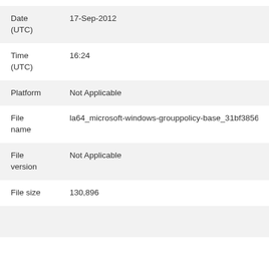| Field | Value |
| --- | --- |
| Date (UTC) | 17-Sep-2012 |
| Time (UTC) | 16:24 |
| Platform | Not Applicable |
| File name | la64_microsoft-windows-grouppolicy-base_31bf3856ad |
| File version | Not Applicable |
| File size | 130,896 |